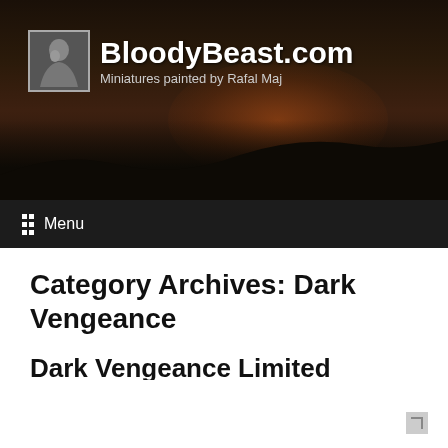[Figure (screenshot): BloodyBeast.com website header banner with dark smoky/fiery background. Shows a small avatar photo on left, site name 'BloodyBeast.com' in large white bold text, tagline 'Miniatures painted by Rafal Maj' in gray text below.]
≡ Menu
Category Archives: Dark Vengeance
Dark Vengeance Limited
Posted on October 31, 2012 by Rafal Maj